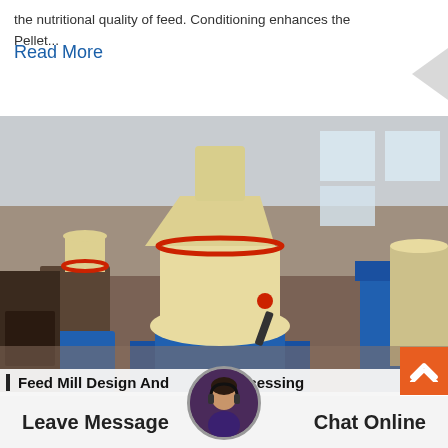the nutritional quality of feed. Conditioning enhances the Pellet...
Read More
[Figure (photo): Industrial feed mill pelleting machines (cream/yellow colored) on blue bases in a factory warehouse, multiple units visible in a row]
Feed Mill Design And Processing
Feed Mill Overall View Feed Mill General Drawing, 1/11/2019 2
Leave Message
Chat Online